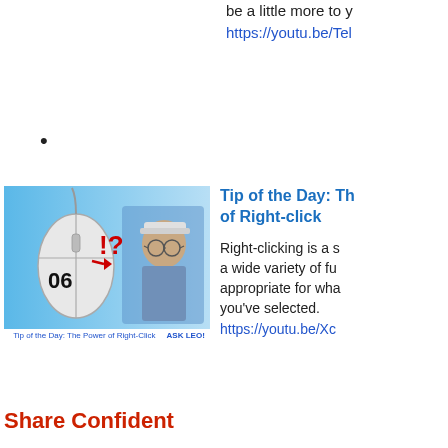be a little more to y...
https://youtu.be/Tel...
•
[Figure (screenshot): Screenshot thumbnail of 'Tip of the Day: The Power of Right-Click' video from Ask Leo!, showing a computer mouse graphic with !? symbols and a man in a cap. Caption reads: Tip of the Day: The Power of Right-Click  ASK LEO!]
Tip of the Day: The Power of Right-click
Right-clicking is a simple action that provides a wide variety of functions that are appropriate for what you're doing or what you've selected.
https://youtu.be/Xc...
Share Confident